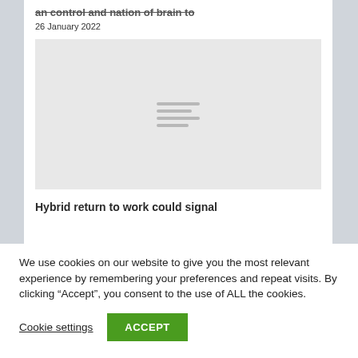Hybrid return to work could signal...
26 January 2022
[Figure (illustration): Light gray image placeholder with four short horizontal gray lines centered in the middle, representing a loading or placeholder image.]
Hybrid return to work could signal
We use cookies on our website to give you the most relevant experience by remembering your preferences and repeat visits. By clicking “Accept”, you consent to the use of ALL the cookies.
Cookie settings
ACCEPT